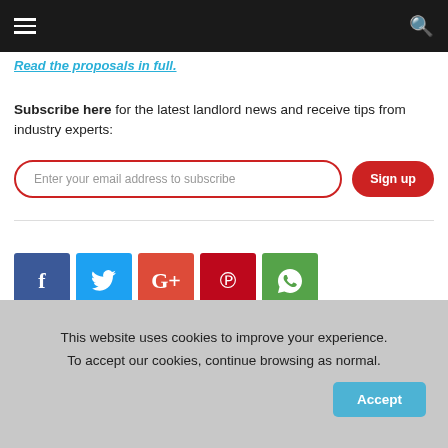Navigation bar with menu and search icons
Read the proposals in full.
Subscribe here for the latest landlord news and receive tips from industry experts:
[Figure (screenshot): Email subscription input field with placeholder 'Enter your email address to subscribe' and a red 'Sign up' button]
[Figure (infographic): Social sharing buttons: Facebook, Twitter, Google+, Pinterest, WhatsApp]
This website uses cookies to improve your experience. To accept our cookies, continue browsing as normal.